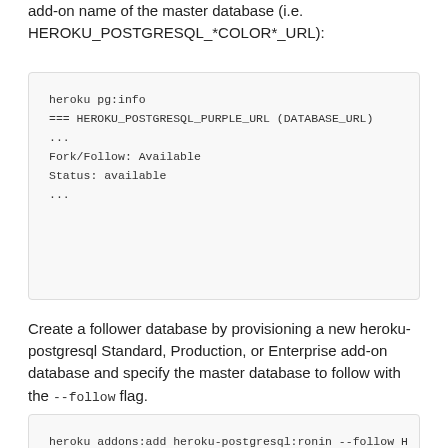add-on name of the master database (i.e. HEROKU_POSTGRESQL_*COLOR*_URL):
Create a follower database by provisioning a new heroku-postgresql Standard, Production, or Enterprise add-on database and specify the master database to follow with the --follow flag.